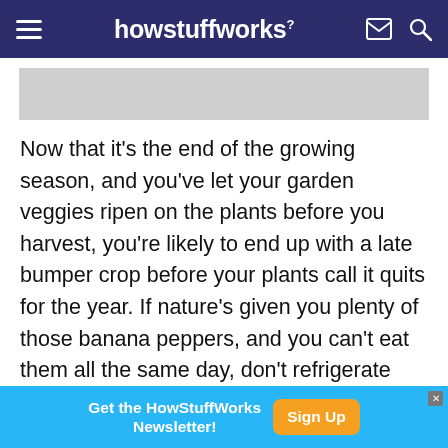howstuffworks
[Figure (photo): Gray image placeholder area below the header]
Now that it's the end of the growing season, and you've let your garden veggies ripen on the plants before you harvest, you're likely to end up with a late bumper crop before your plants call it quits for the year. If nature's given you plenty of those banana peppers, and you can't eat them all the same day, don't refrigerate them. So, what do you do with a bushel of banana peppers? We've got 10 delicious creative ways to use them. Remember, banana
[Figure (screenshot): Advertisement banner: Get the HowStuffWorks Newsletter! with Sign Up button]